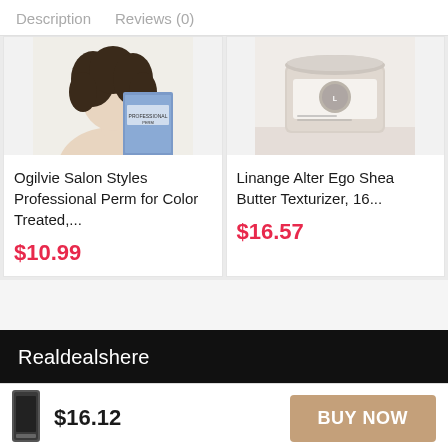Description   Reviews (0)
[Figure (photo): Product image: Ogilvie Salon Styles Professional Perm for Color Treated hair product, partial view of person with curly hair]
Ogilvie Salon Styles Professional Perm for Color Treated,...
$10.99
[Figure (photo): Product image: Linange Alter Ego Shea Butter Texturizer, 16... - white/cream jar product]
Linange Alter Ego Shea Butter Texturizer, 16...
$16.57
Realdealshere
[Figure (photo): Small product image thumbnail for bottom bar item]
$16.12
BUY NOW